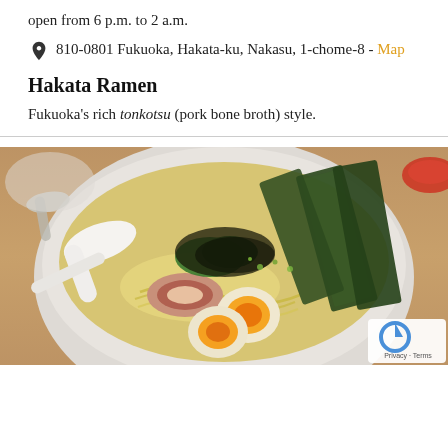open from 6 p.m. to 2 a.m.
810-0801 Fukuoka, Hakata-ku, Nakasu, 1-chome-8 - Map
Hakata Ramen
Fukuoka's rich tonkotsu (pork bone broth) style.
[Figure (photo): Bowl of Hakata ramen with tonkotsu broth, noodles, chashu pork, soft-boiled egg, nori seaweed sheets, spinach, and black sesame toppings on a wooden table.]